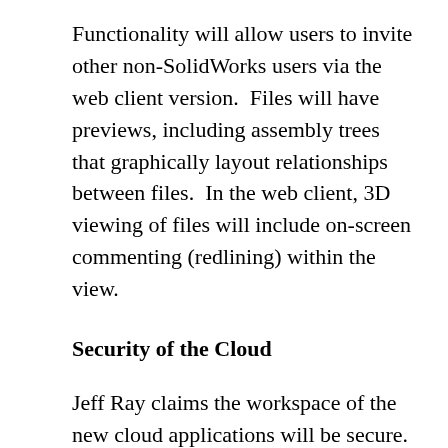Functionality will allow users to invite other non-SolidWorks users via the web client version.  Files will have previews, including assembly trees that graphically layout relationships between files.  In the web client, 3D viewing of files will include on-screen commenting (redlining) within the view.
Security of the Cloud
Jeff Ray claims the workspace of the new cloud applications will be secure.  In fact, Jon Hirshtick is adamant in his belief that cloud computing is far more secure than having data on local hard drives.  This doesn't come from opinionation.  It actually comes from